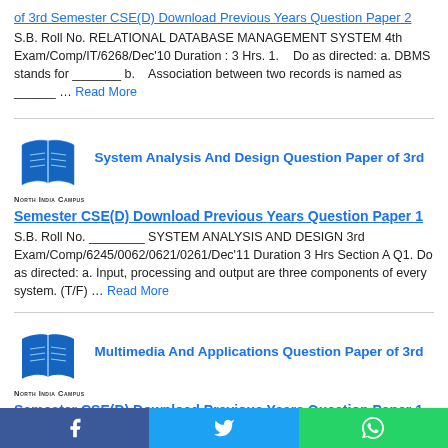of 3rd Semester CSE(D) Download Previous Years Question Paper 2
S.B. Roll No. RELATIONAL DATABASE MANAGEMENT SYSTEM 4th Exam/Comp/IT/6268/Dec'10 Duration : 3 Hrs. 1.    Do as directed: a. DBMS stands for _______ b.    Association between two records is named as ______ … Read More
[Figure (logo): North India Campus book logo - two stylized open book pages in blue]
System Analysis And Design Question Paper of 3rd
Semester CSE(D) Download Previous Years Question Paper 1
S.B. Roll No. ________ SYSTEM ANALYSIS AND DESIGN 3rd Exam/Comp/6245/0062/0621/0261/Dec'11 Duration 3 Hrs Section A Q1. Do as directed: a. Input, processing and output are three components of every system. (T/F) … Read More
[Figure (logo): North India Campus book logo - two stylized open book pages in blue]
Multimedia And Applications Question Paper of 3rd
Semester CSE(D) Download Previous Years Question Paper 1
S.B. Roll No. MULTIMEDIA AND APPLICATIONS 3rd
f  t  [whatsapp icon]